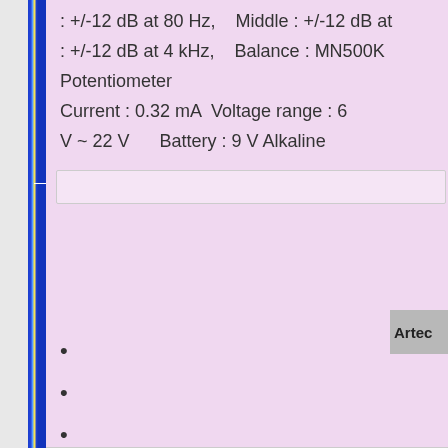: +/-12 dB at 80 Hz,    Middle : +/-12 dB at
: +/-12 dB at 4 kHz,    Balance : MN500K
Potentiometer
Current : 0.32 mA  Voltage range : 6
V ~ 22 V      Battery : 9 V Alkaline
Artec